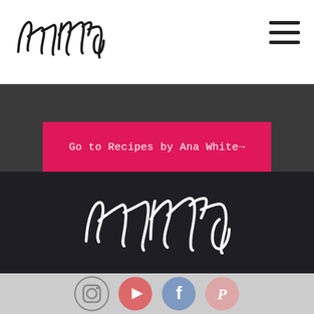[Figure (logo): AnaWhite handwritten script logo in black on white header bar]
[Figure (other): Hamburger menu icon (three horizontal lines) in top right corner]
[Figure (other): Pink/magenta button with text 'Go to Recipes by Ana White→' on dark gray background]
[Figure (logo): AnaWhite handwritten script logo in white on dark background footer section]
[Figure (other): Social media icons row: Instagram, YouTube, Facebook, Pinterest on light gray bar]